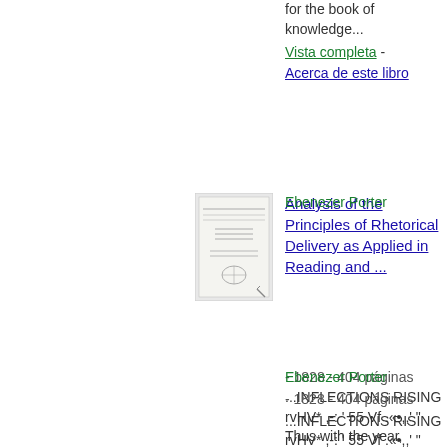for the book of knowledge...
Vista completa - Acerca de este libro
[Figure (illustration): Small thumbnail image of a book cover]
Analysis of the Principles of Rhetorical Delivery as Applied in Reading and ...
Ebenezer Porter
- 1828 - 404 páginas
...INFLECTIONS RISING rvHV* ,-: ' 55 Vf .«•,,' " Thus with the year, Seasons return ; but not to me returns Day, or the sweet approach of eVn or morn,...sight of